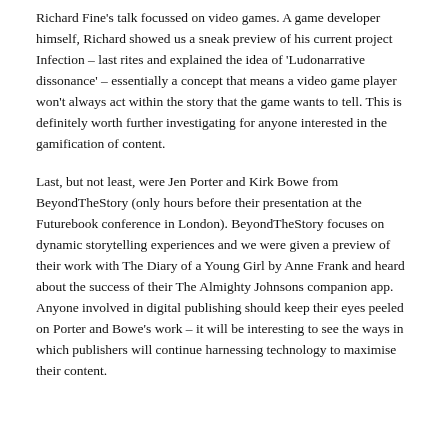Richard Fine's talk focussed on video games. A game developer himself, Richard showed us a sneak preview of his current project Infection – last rites and explained the idea of 'Ludonarrative dissonance' – essentially a concept that means a video game player won't always act within the story that the game wants to tell. This is definitely worth further investigating for anyone interested in the gamification of content.
Last, but not least, were Jen Porter and Kirk Bowe from BeyondTheStory (only hours before their presentation at the Futurebook conference in London). BeyondTheStory focuses on dynamic storytelling experiences and we were given a preview of their work with The Diary of a Young Girl by Anne Frank and heard about the success of their The Almighty Johnsons companion app. Anyone involved in digital publishing should keep their eyes peeled on Porter and Bowe's work – it will be interesting to see the ways in which publishers will continue harnessing technology to maximise their content.